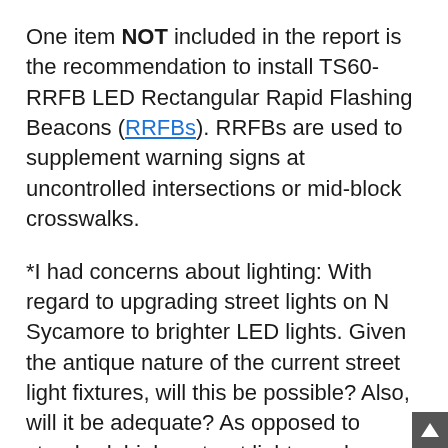One item NOT included in the report is the recommendation to install TS60-RRFB LED Rectangular Rapid Flashing Beacons (RRFBs). RRFBs are used to supplement warning signs at uncontrolled intersections or mid-block crosswalks.
*I had concerns about lighting: With regard to upgrading street lights on N Sycamore to brighter LED lights. Given the antique nature of the current street light fixtures, will this be possible? Also, will it be adequate? As opposed to standard, higher street lights such as those at the Jefferson Street intersection?
Watch the video clip above in which Remington Vernick Traffic Engineer Derrick Kennedy gave an